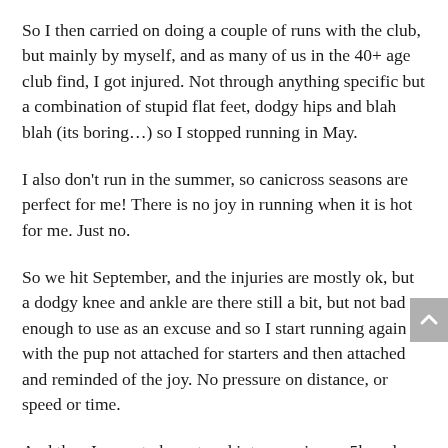So I then carried on doing a couple of runs with the club, but mainly by myself, and as many of us in the 40+ age club find, I got injured.  Not through anything specific but a combination of stupid flat feet, dodgy hips and blah blah (its boring…)  so I stopped running in May.
I also don't run in the summer, so canicross seasons are perfect for me!  There is no joy in running when it is hot for me.  Just no.
So we hit September, and the injuries are mostly ok, but a dodgy knee and ankle are there still a bit, but not bad enough to use as an excuse and so I start running again with the pup not attached for starters and then attached and reminded of the joy.  No pressure on distance, or speed or time.
And then I seem to be entered into a canicross 5k and